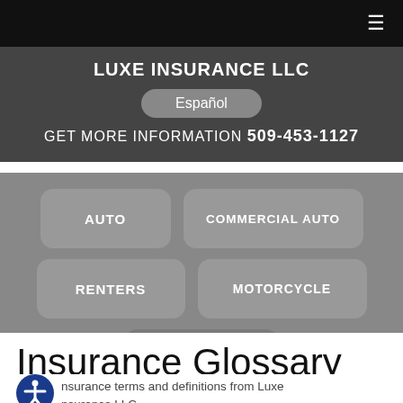LUXE INSURANCE LLC
Español
GET MORE INFORMATION 509-453-1127
AUTO
COMMERCIAL AUTO
RENTERS
MOTORCYCLE
BOAT
Insurance Glossary
Insurance terms and definitions from Luxe Insurance LLC.